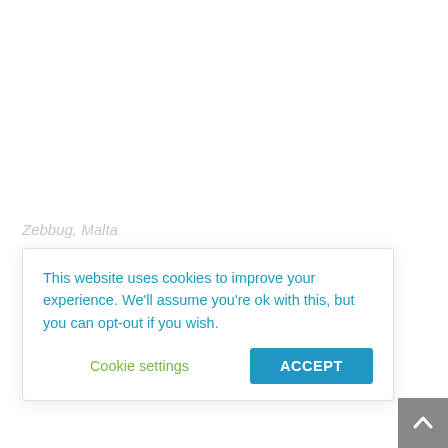Zebbug, Malta
T... are more into r... ouched part of M... hentic towns. T... nt a car or a s... public transport i... ll you need to
[Figure (screenshot): Cookie consent dialog box with text 'This website uses cookies to improve your experience. We'll assume you're ok with this, but you can opt-out if you wish.' with 'Cookie settings' and 'ACCEPT' buttons]
[Figure (other): Scroll-to-top button (grey square with white chevron up arrow) in bottom-right corner]